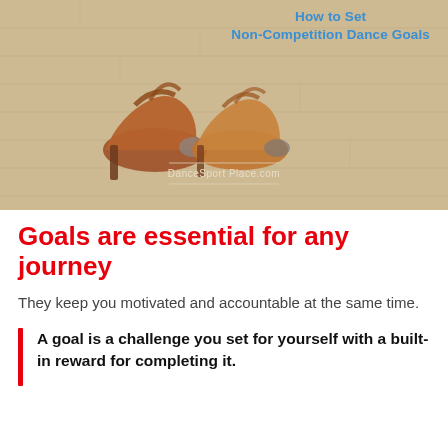[Figure (photo): Photo of tan/brown dance shoes (heels) resting on a light hardwood dance floor. Overlay text reads 'How to Set Non-Competition Dance Goals' in blue, and watermark 'DanceSport Place.com' in light text at center-bottom.]
Goals are essential for any journey
They keep you motivated and accountable at the same time.
A goal is a challenge you set for yourself with a built-in reward for completing it.